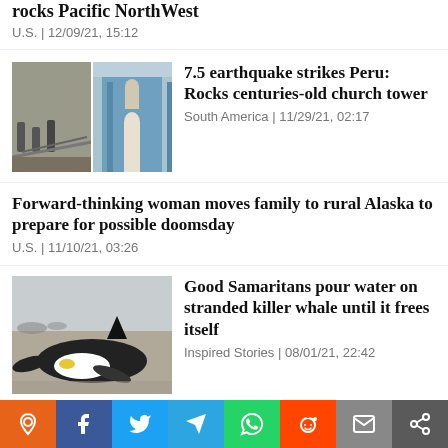rocks Pacific NorthWest
U.S. | 12/09/21, 15:12
[Figure (photo): Earthquake damage: construction debris and a blue colonial church facade]
7.5 earthquake strikes Peru: Rocks centuries-old church tower
South America | 11/29/21, 02:17
Forward-thinking woman moves family to rural Alaska to prepare for possible doomsday
U.S. | 11/10/21, 03:26
[Figure (photo): A stranded killer whale (orca) lying on a beach with fins visible]
Good Samaritans pour water on stranded killer whale until it frees itself
Inspired Stories | 08/01/21, 22:42
Supreme Court will not